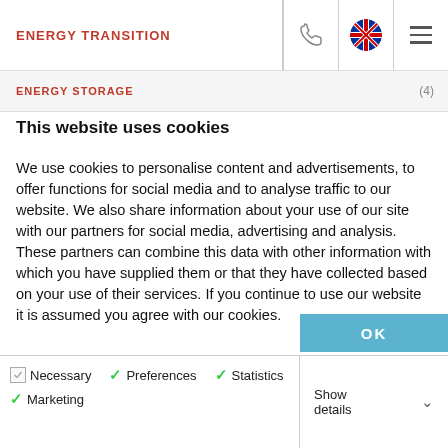ENERGY TRANSITION | ENERGY STORAGE (4)
This website uses cookies
We use cookies to personalise content and advertisements, to offer functions for social media and to analyse traffic to our website. We also share information about your use of our site with our partners for social media, advertising and analysis. These partners can combine this data with other information with which you have supplied them or that they have collected based on your use of their services. If you continue to use our website it is assumed you agree with our cookies.
OK
Necessary | Preferences | Statistics | Marketing | Show details